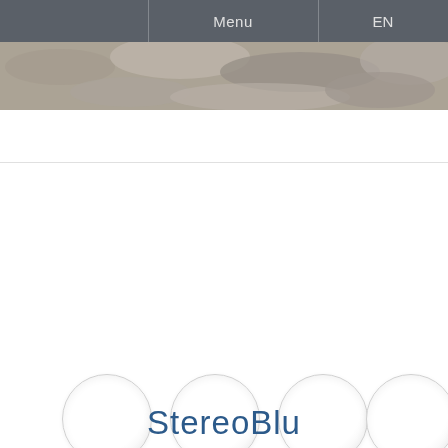Menu   EN
[Figure (photo): Hero image showing rocky/stone texture background beneath the navigation bar]
[Figure (illustration): Six circular button/icon placeholders arranged in two rows: four in the top row and two in the bottom row, with light gray borders and glossy white fill]
StereoBlu